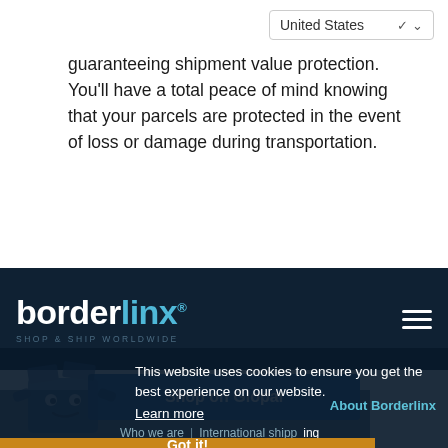[Figure (screenshot): Country selector dropdown showing 'United States' with a chevron arrow]
guaranteeing shipment value protection. You'll have a total peace of mind knowing that your parcels are protected in the event of loss or damage during transportation.
[Figure (logo): Borderlinx logo — 'border' in white, 'linx' in light blue, registered trademark symbol, tagline 'SHOP & SHIP WORLDWIDE' — on dark navy background with hamburger menu icon]
[Figure (other): Blue 'Shop on Glopal' button]
[Figure (illustration): Borderlinx blue box mascot illustration]
This website uses cookies to ensure you get the best experience on our website.
Learn more
About Borderlinx
Who we are | International shipping
Got it!
Shipping